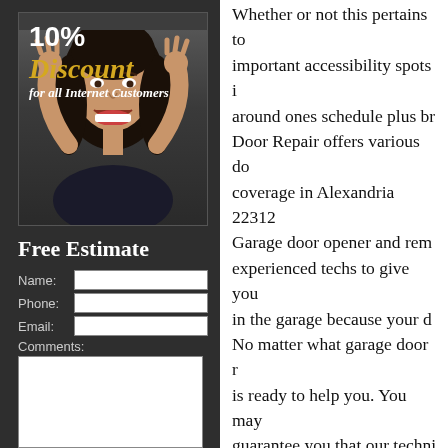[Figure (photo): Promotional image showing '10% Discount for all Internet Customers' text overlay on a photo of an excited woman with hands raised]
Free Estimate
Name:
Phone:
Email:
Comments:
Whether or not this pertains to important accessibility spots in around ones schedule plus br Door Repair offers various do coverage in Alexandria 22312 Garage door opener and rem experienced techs to give yo in the garage because your d No matter what garage door r is ready to help you. You may guarantee you that our techni with the rate that will suit your Contractor, Torsion Springs F Door Hardware, Chamberlain Doors, Garage Door Opener I Repair, Remote Control Repa Garage Door Service, Garag Garage Door, Overhead Gar